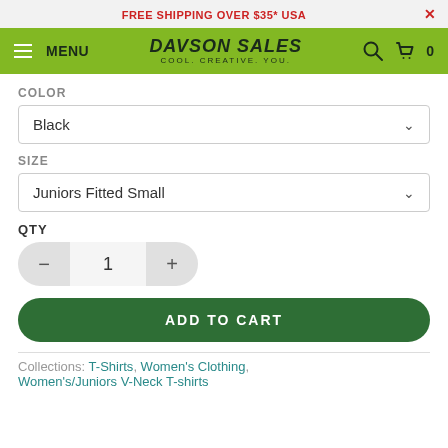FREE SHIPPING OVER $35* USA
MENU DAVSON SALES COOL. CREATIVE. YOU.
COLOR
Black
SIZE
Juniors Fitted Small
QTY
1
ADD TO CART
Collections: T-Shirts, Women's Clothing, Women's/Juniors V-Neck T-shirts